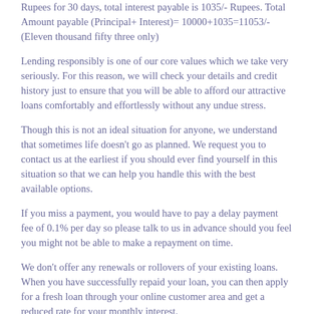Rupees for 30 days, total interest payable is 1035/- Rupees. Total Amount payable (Principal+ Interest)= 10000+1035=11053/-(Eleven thousand fifty three only)
Lending responsibly is one of our core values which we take very seriously. For this reason, we will check your details and credit history just to ensure that you will be able to afford our attractive loans comfortably and effortlessly without any undue stress.
Though this is not an ideal situation for anyone, we understand that sometimes life doesn't go as planned. We request you to contact us at the earliest if you should ever find yourself in this situation so that we can help you handle this with the best available options.
If you miss a payment, you would have to pay a delay payment fee of 0.1% per day so please talk to us in advance should you feel you might not be able to make a repayment on time.
We don't offer any renewals or rollovers of your existing loans. When you have successfully repaid your loan, you can then apply for a fresh loan through your online customer area and get a reduced rate for your monthly interest.